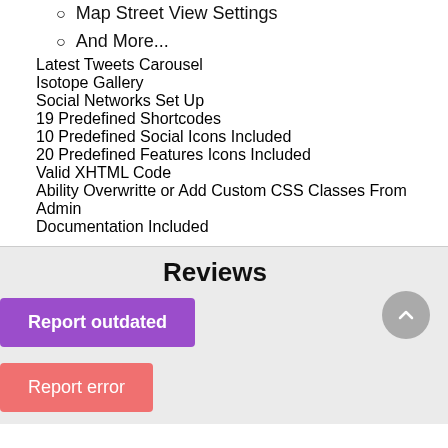Map Street View Settings
And More...
Latest Tweets Carousel
Isotope Gallery
Social Networks Set Up
19 Predefined Shortcodes
10 Predefined Social Icons Included
20 Predefined Features Icons Included
Valid XHTML Code
Ability Overwritte or Add Custom CSS Classes From Admin
Documentation Included
Reviews
Report outdated
Report error